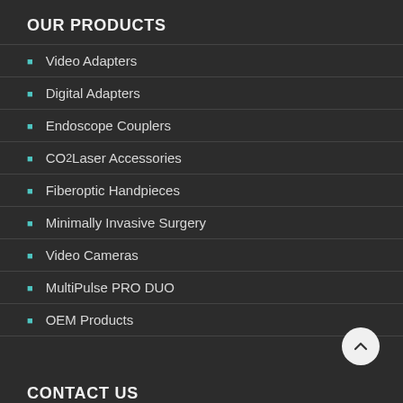OUR PRODUCTS
Video Adapters
Digital Adapters
Endoscope Couplers
CO₂ Laser Accessories
Fiberoptic Handpieces
Minimally Invasive Surgery
Video Cameras
MultiPulse PRO DUO
OEM Products
CONTACT US